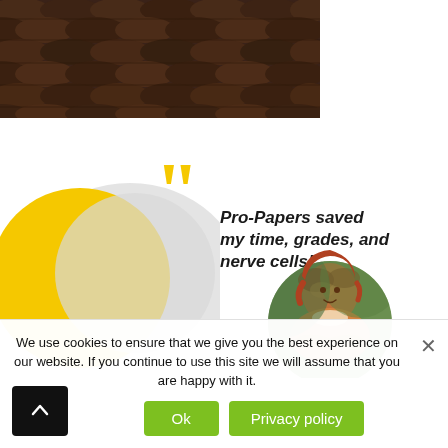[Figure (photo): Close-up photo of dark brown/rust colored roof tiles viewed from an angle]
[Figure (illustration): Testimonial graphic with yellow quotation marks, yellow crescent and grey blob decorative shapes, italic bold quote text reading 'Pro-Papers saved my time, grades, and nerve cells!' and a circular portrait photo of a smiling woman with red hair outdoors]
We use cookies to ensure that we give you the best experience on our website. If you continue to use this site we will assume that you are happy with it.